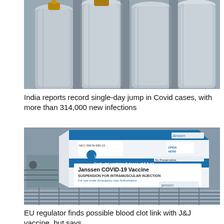[Figure (photo): Close-up photo of industrial oxygen or gas cylinders with brass valves, appearing gray/white, stored together]
India reports record single-day jump in Covid cases, with more than 314,000 new infections
[Figure (photo): Photo of a Janssen COVID-19 Vaccine box showing 'SUSPENSION FOR INTRAMUSCULAR INJECTION', 'For use under Emergency Use Authorization', stored in a refrigerator/cold storage unit with wire rack visible]
EU regulator finds possible blood clot link with J&J vaccine, but says